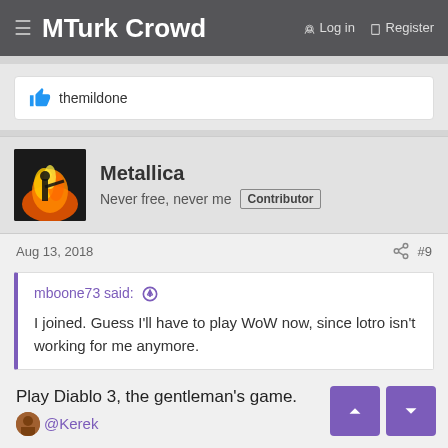≡ MTurk Crowd   Log in   Register
themildone
Metallica
Never free, never me  Contributor
Aug 13, 2018  #9
mboone73 said: ↑

I joined. Guess I'll have to play WoW now, since lotro isn't working for me anymore.
Play Diablo 3, the gentleman's game.
@Kerek
Kerek